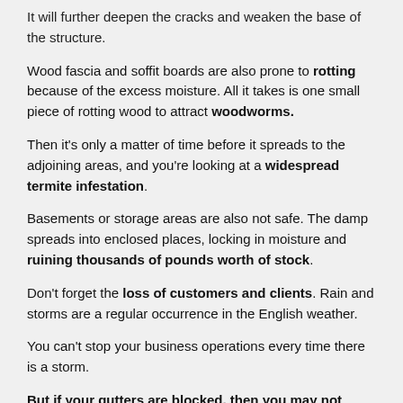It will further deepen the cracks and weaken the base of the structure.
Wood fascia and soffit boards are also prone to rotting because of the excess moisture. All it takes is one small piece of rotting wood to attract woodworms.
Then it’s only a matter of time before it spreads to the adjoining areas, and you’re looking at a widespread termite infestation.
Basements or storage areas are also not safe. The damp spreads into enclosed places, locking in moisture and ruining thousands of pounds worth of stock.
Don’t forget the loss of customers and clients. Rain and storms are a regular occurrence in the English weather.
You can’t stop your business operations every time there is a storm.
But if your gutters are blocked, then you may not have a choice.